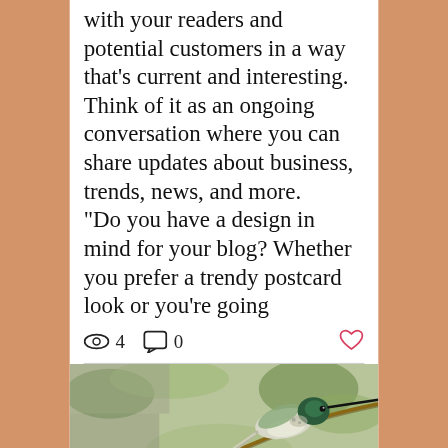with your readers and potential customers in a way that's current and interesting. Think of it as an ongoing conversation where you can share updates about business, trends, news, and more. “Do you have a design in mind for your blog? Whether you prefer a trendy postcard look or you’re going
[Figure (other): Social interaction stats row: eye icon with count 4, comment icon with count 0, heart/like icon (red outline)]
[Figure (photo): Close-up photograph of a hummingbird perched on a thin branch, facing right, with green iridescent feathers on head and back, blurred foliage in background]
Phone icon | Email icon | Facebook icon